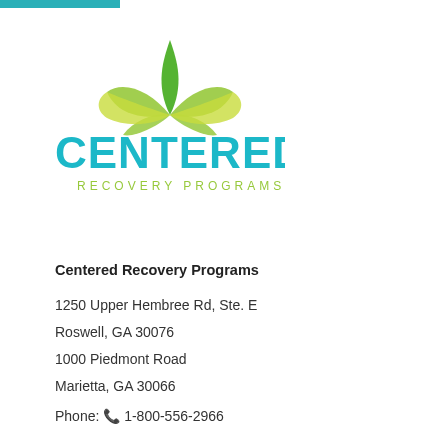[Figure (logo): Centered Recovery Programs logo: a lotus/leaf green icon above the word CENTERED in teal/cyan bold uppercase letters, with RECOVERY PROGRAMS in small green spaced capitals below]
Centered Recovery Programs
1250 Upper Hembree Rd, Ste. E
Roswell, GA 30076
1000 Piedmont Road
Marietta, GA 30066
Phone: 📞 1-800-556-2966